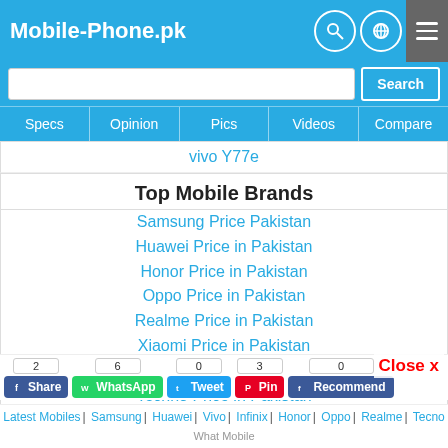Mobile-Phone.pk
vivo Y77e
Top Mobile Brands
Samsung Price Pakistan
Huawei Price in Pakistan
Honor Price in Pakistan
Oppo Price in Pakistan
Realme Price in Pakistan
Xiaomi Price in Pakistan
Infinix Price in Pakistan
Techno Price in Pakistan
Omobile
Close x
2 Share | 6 WhatsApp | 0 Tweet | 3 Pin | 0 Recommend
Latest Mobiles | Samsung | Huawei | Vivo | Infinix | Honor | Oppo | Realme | Tecno